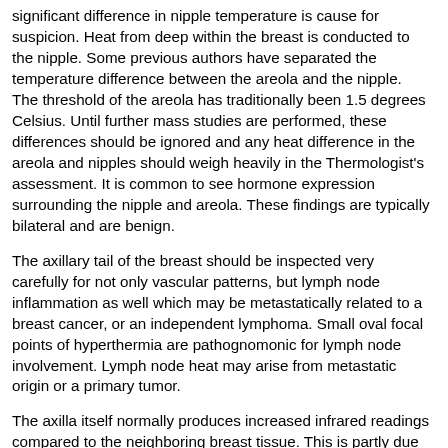significant difference in nipple temperature is cause for suspicion. Heat from deep within the breast is conducted to the nipple. Some previous authors have separated the temperature difference between the areola and the nipple. The threshold of the areola has traditionally been 1.5 degrees Celsius. Until further mass studies are performed, these differences should be ignored and any heat difference in the areola and nipples should weigh heavily in the Thermologist's assessment. It is common to see hormone expression surrounding the nipple and areola. These findings are typically bilateral and are benign.
The axillary tail of the breast should be inspected very carefully for not only vascular patterns, but lymph node inflammation as well which may be metastatically related to a breast cancer, or an independent lymphoma. Small oval focal points of hyperthermia are pathognomonic for lymph node involvement. Lymph node heat may arise from metastatic origin or a primary tumor.
The axilla itself normally produces increased infrared readings compared to the neighboring breast tissue. This is partly due to its cavity radiator effect as well as being a warmer body area. It is important to note the relative and quantitative temperature differences. There is a significant difference in temperature with inflammatory breast cancer and other aggressive metastatic